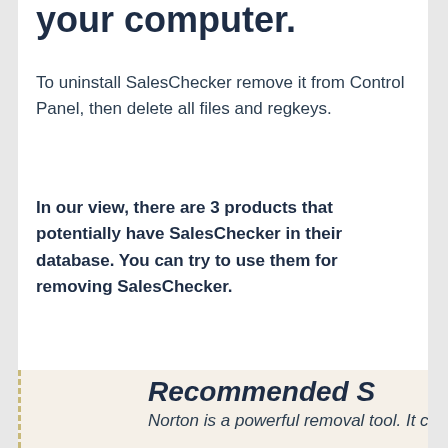your computer.
To uninstall SalesChecker remove it from Control Panel, then delete all files and regkeys.
In our view, there are 3 products that potentially have SalesChecker in their database. You can try to use them for removing SalesChecker.
Recommended S
Norton is a powerful removal tool. It can remove all instances of SalesChecker – files, folders